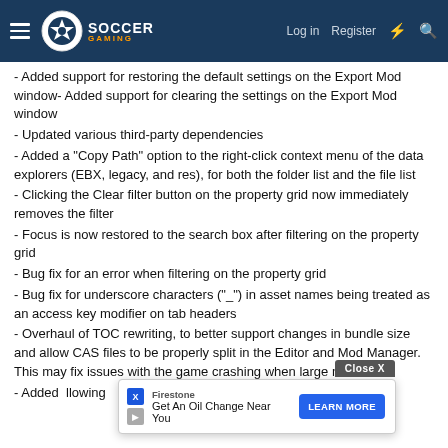Soccer Gaming — Log in | Register
- Added support for restoring the default settings on the Export Mod window- Added support for clearing the settings on the Export Mod window
- Updated various third-party dependencies
- Added a "Copy Path" option to the right-click context menu of the data explorers (EBX, legacy, and res), for both the folder list and the file list
- Clicking the Clear filter button on the property grid now immediately removes the filter
- Focus is now restored to the search box after filtering on the property grid
- Bug fix for an error when filtering on the property grid
- Bug fix for underscore characters ("_") in asset names being treated as an access key modifier on tab headers
- Overhaul of TOC rewriting, to better support changes in bundle size and allow CAS files to be properly split in the Editor and Mod Manager. This may fix issues with the game crashing when large mo...
- Added ... llowing
[Figure (screenshot): Advertisement overlay: Firestone oil change ad with Close X button, X/play icons, brand name, tagline 'Get An Oil Change Near You', and 'LEARN MORE' blue button]